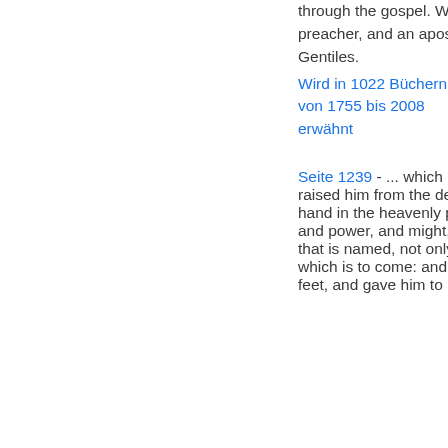through the gospel. Whereunto I am appointed a preacher, and an apostle, and a teacher of the Gentiles.
Wird in 1022 Büchern von 1755 bis 2008 erwähnt
Seite 1239 - ... which he wrought in Christ, when he raised him from the dead, and set him at his own right hand in the heavenly places, far above all principality, and power, and might, and dominion, and every name that is named, not only in this world, but also in that which is to come: and hath put all things under his feet, and gave him to be the head